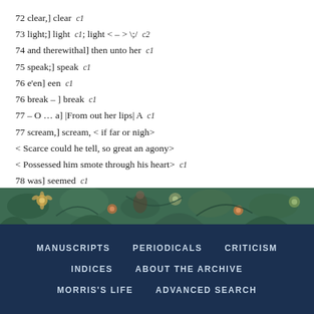72 clear,] clear  c1
73 light;] light  c1; light < – > \;/  c2
74 and therewithal] then unto her  c1
75 speak;] speak  c1
76 e'en] een  c1
76 break – ] break  c1
77 – O … a] |From out her lips| A  c1
77 scream,] scream, < if far or nigh>
< Scarce could he tell, so great an agony>
< Possessed him smote through his heart>  c1
78 was] seemed  c1
78 fearful dream,] dreadful dream  c1
[Figure (illustration): Decorative floral band with blue, green, and earthy tones featuring stylized flowers and foliage]
MANUSCRIPTS   PERIODICALS   CRITICISM   INDICES   ABOUT THE ARCHIVE   MORRIS'S LIFE   ADVANCED SEARCH